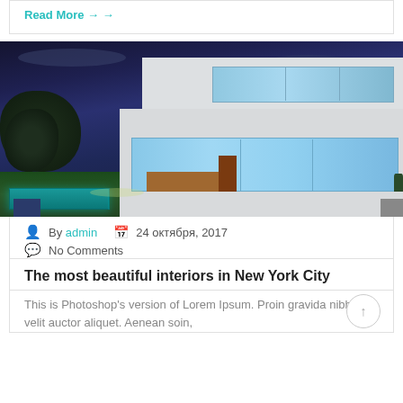Read More →
[Figure (photo): Modern white house photographed at dusk/night with illuminated interior, flat roof architecture, surrounded by trees and lawn with a pool in the foreground]
By admin  24 октября, 2017  No Comments
The most beautiful interiors in New York City
This is Photoshop's version of Lorem Ipsum. Proin gravida nibh vel velit auctor aliquet. Aenean soin,